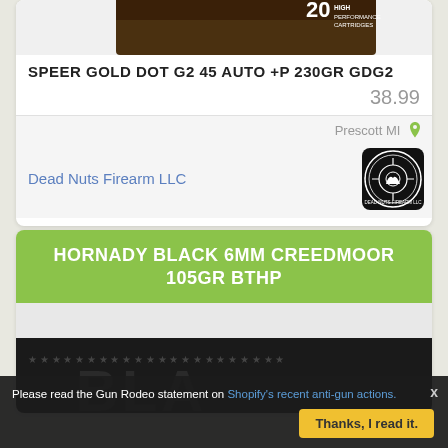[Figure (photo): Speer Gold Dot G2 ammunition box partial image at top]
SPEER GOLD DOT G2 45 AUTO +P 230GR GDG2
38.99
Prescott MI
Dead Nuts Firearm LLC
[Figure (logo): Dead Nuts Firearm LLC circular logo with firearm crosshair scope design]
HORNADY BLACK 6MM CREEDMOOR 105GR BTHP
[Figure (photo): Hornady Black ammunition box partial bottom view showing stars pattern and text BLA...]
Please read the Gun Rodeo statement on Shopify's recent anti-gun actions.
Thanks, I read it.